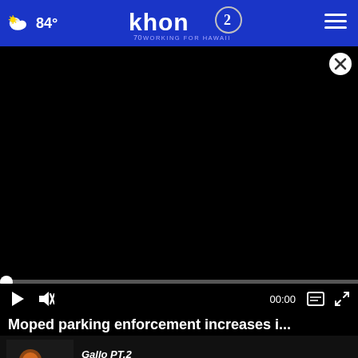84° khon2 WORKING FOR HAWAII
[Figure (screenshot): Black video player with progress bar at start (00:00), play button, mute button, caption button, and fullscreen button]
Moped parking enforcement increases i...
[Figure (screenshot): Related video thumbnail showing food item]
Gallo PT.2
Video / 4 days ago